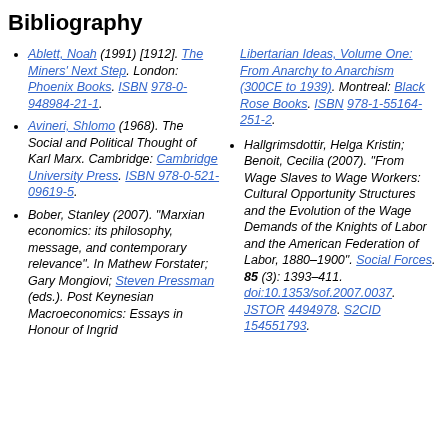Bibliography
Ablett, Noah (1991) [1912]. The Miners' Next Step. London: Phoenix Books. ISBN 978-0-948984-21-1.
Avineri, Shlomo (1968). The Social and Political Thought of Karl Marx. Cambridge: Cambridge University Press. ISBN 978-0-521-09619-5.
Bober, Stanley (2007). "Marxian economics: its philosophy, message, and contemporary relevance". In Mathew Forstater; Gary Mongiovi; Steven Pressman (eds.). Post Keynesian Macroeconomics: Essays in Honour of Ingrid [Rima]. Libertarian Ideas, Volume One: From Anarchy to Anarchism (300CE to 1939). Montreal: Black Rose Books. ISBN 978-1-55164-251-2.
Hallgrimsdottir, Helga Kristin; Benoit, Cecilia (2007). "From Wage Slaves to Wage Workers: Cultural Opportunity Structures and the Evolution of the Wage Demands of the Knights of Labor and the American Federation of Labor, 1880–1900". Social Forces. 85 (3): 1393–411. doi:10.1353/sof.2007.0037. JSTOR 4494978. S2CID 154551793.